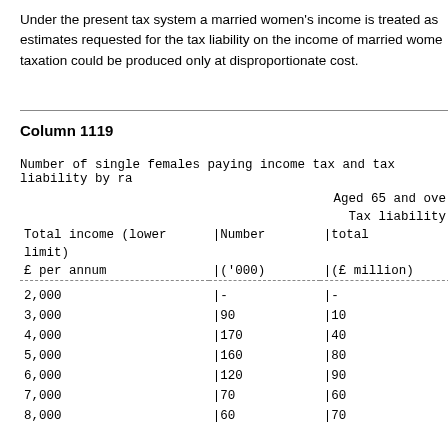Under the present tax system a married women's income is treated as estimates requested for the tax liability on the income of married wome taxation could be produced only at disproportionate cost.
Column 1119
| Total income (lower limit) £ per annum | Number ('000) | total (£ million) |
| --- | --- | --- |
| 2,000 | |- | |- |
| 3,000 | |90 | |10 |
| 4,000 | |170 | |40 |
| 5,000 | |160 | |80 |
| 6,000 | |120 | |90 |
| 7,000 | |70 | |60 |
| 8,000 | |60 | |70 |